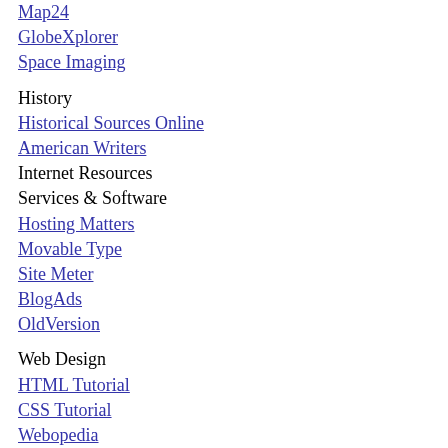Map24
GlobeXplorer
Space Imaging
History
Historical Sources Online
American Writers
Internet Resources
Services & Software
Hosting Matters
Movable Type
Site Meter
BlogAds
OldVersion
Web Design
HTML Tutorial
CSS Tutorial
Webopedia
PicturesNOW
Animation Factory
Webdeveloper animations
Clipart Searcher
Sound Effects